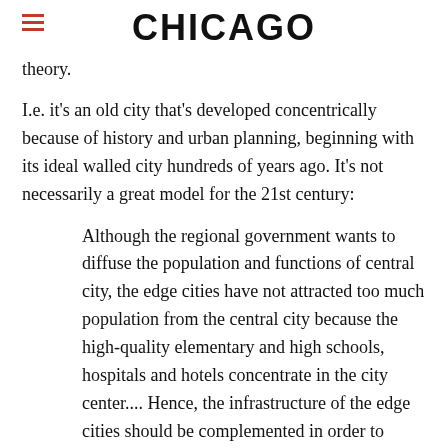CHICAGO
theory.
I.e. it's an old city that's developed concentrically because of history and urban planning, beginning with its ideal walled city hundreds of years ago. It's not necessarily a great model for the 21st century:
Although the regional government wants to diffuse the population and functions of central city, the edge cities have not attracted too much population from the central city because the high-quality elementary and high schools, hospitals and hotels concentrate in the city center.... Hence, the infrastructure of the edge cities should be complemented in order to